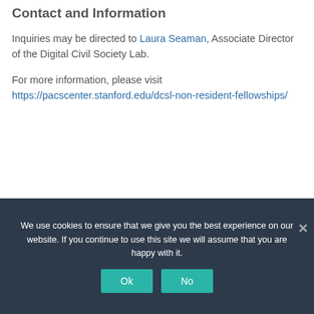Contact and Information
Inquiries may be directed to Laura Seaman, Associate Director of the Digital Civil Society Lab.
For more information, please visit https://pacscenter.stanford.edu/dcsl-non-resident-fellowships/
We use cookies to ensure that we give you the best experience on our website. If you continue to use this site we will assume that you are happy with it.